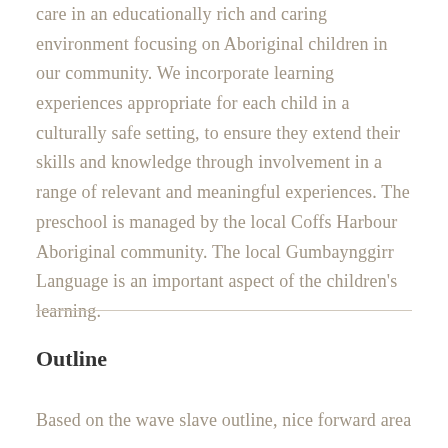care in an educationally rich and caring environment focusing on Aboriginal children in our community. We incorporate learning experiences appropriate for each child in a culturally safe setting, to ensure they extend their skills and knowledge through involvement in a range of relevant and meaningful experiences. The preschool is managed by the local Coffs Harbour Aboriginal community. The local Gumbaynggirr Language is an important aspect of the children's learning.
Outline
Based on the wave slave outline, nice forward area